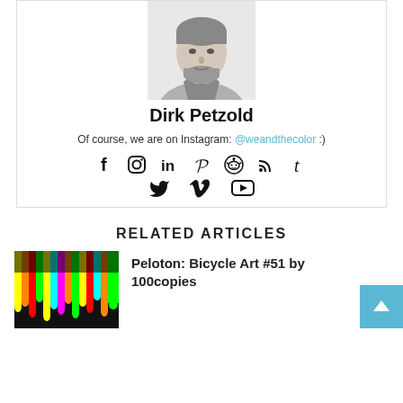[Figure (photo): Black and white headshot photo of Dirk Petzold, a man with short hair and a beard wearing a v-neck t-shirt]
Dirk Petzold
Of course, we are on Instagram: @weandthecolor :)
[Figure (infographic): Row of social media icons: Facebook, Instagram, LinkedIn, Pinterest, Reddit, RSS, Tumblr]
[Figure (infographic): Row of social media icons: Twitter, Vimeo, YouTube]
RELATED ARTICLES
[Figure (photo): Colorful bicycle art thumbnail image with dripping paint effect]
Peloton: Bicycle Art #51 by 100copies